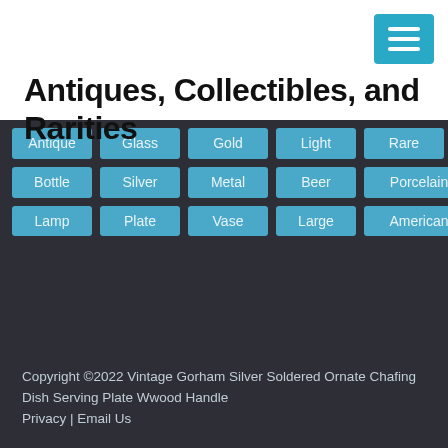[Figure (other): Teal hamburger menu button icon in top right corner]
Antiques, Collectibles, and Rarities
Antique
Glass
Gold
Light
Rare
Sign
Bottle
Silver
Metal
Beer
Porcelain
Lamp
Plate
Vase
Large
American
Marx
Copyright ©2022 Vintage Gorham Silver Soldered Ornate Chafing Dish Serving Plate Wwood Handle
Privacy | Email Us